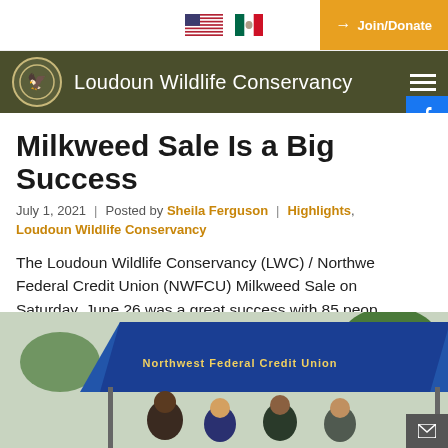Loudoun Wildlife Conservancy
Milkweed Sale Is a Big Success
July 1, 2021 | Posted by Sheila Ferguson | Highlights, Loudoun Wildlife Conservancy
The Loudoun Wildlife Conservancy (LWC) / Northwest Federal Credit Union (NWFCU) Milkweed Sale on Saturday, June 26 was a great success with 85 people purchasing 700 plants.
[Figure (photo): Photo of people under a blue Northwest Federal Credit Union tent canopy at the milkweed sale event outdoors.]